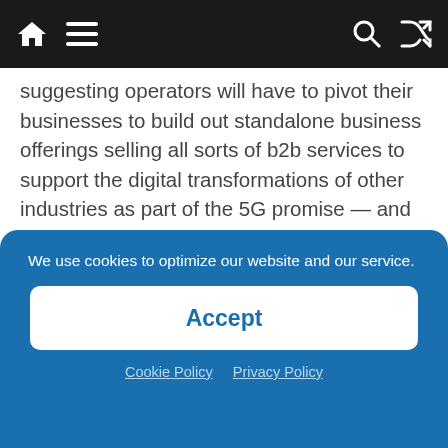[Navigation bar with home, menu, search, shuffle icons]
suggesting operators will have to pivot their businesses to build out standalone business offerings selling all sorts of b2b services to support the digital transformations of other industries as part of the 5G promise — and that's clearly going to suck up a lot of their time and mind for the foreseeable future.

In Europe alone estimates for the cost of rolling
We use cookies to optimize our website and our service.
Accept
Cookie Policy   Privacy Policy